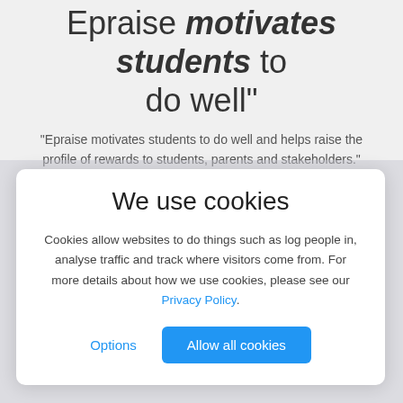Epraise motivates students to do well"
"Epraise motivates students to do well and helps raise the profile of rewards to students, parents and stakeholders."
We use cookies
Cookies allow websites to do things such as log people in, analyse traffic and track where visitors come from. For more details about how we use cookies, please see our Privacy Policy.
Options | Allow all cookies